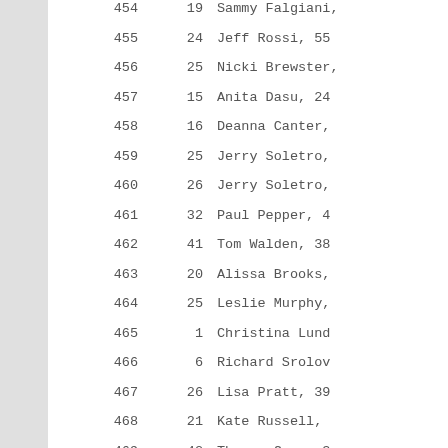| # | Col2 | Name |
| --- | --- | --- |
| 454 | 19 | Sammy Falgiani, |
| 455 | 24 | Jeff Rossi, 55 |
| 456 | 25 | Nicki Brewster, |
| 457 | 15 | Anita Dasu, 24 |
| 458 | 16 | Deanna Canter, |
| 459 | 25 | Jerry Soletro, |
| 460 | 26 | Jerry Soletro, |
| 461 | 32 | Paul Pepper, 4 |
| 462 | 41 | Tom Walden, 38 |
| 463 | 20 | Alissa Brooks, |
| 464 | 25 | Leslie Murphy, |
| 465 | 1 | Christina Lund |
| 466 | 6 | Richard Srolov |
| 467 | 26 | Lisa Pratt, 39 |
| 468 | 21 | Kate Russell, |
| 469 | 42 | Thomas Gray, 3 |